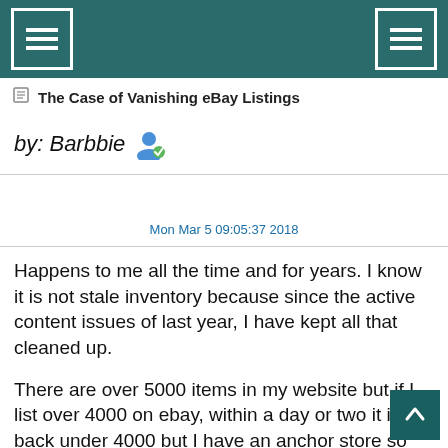The Case of Vanishing eBay Listings
by: Barbbie
Mon Mar 5 09:05:37 2018
Happens to me all the time and for years. I know it is not stale inventory because since the active content issues of last year, I have kept all that cleaned up.

There are over 5000 items in my website but if I list over 4000 on ebay, within a day or two it is back under 4000 but I have an anchor store so listing amount should not be an issue.  In the couple weeks my inventory has been reduced to 3955 despite having listed 86 new items in that same time frame.